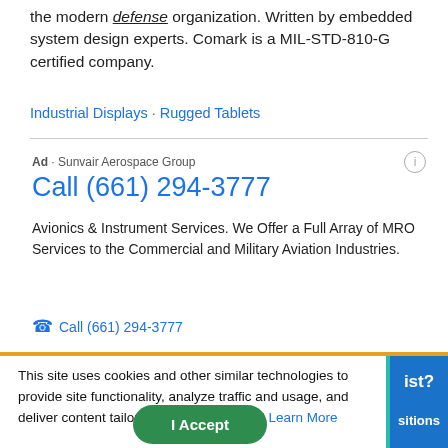the modern defense organization. Written by embedded system design experts. Comark is a MIL-STD-810-G certified company.
Industrial Displays · Rugged Tablets
Ad · Sunvair Aerospace Group
Call (661) 294-3777
Avionics & Instrument Services. We Offer a Full Array of MRO Services to the Commercial and Military Aviation Industries.
Call (661) 294-3777
This site uses cookies and other similar technologies to provide site functionality, analyze traffic and usage, and deliver content tailored to your interests. | Learn More
I Accept
ist?
sitions